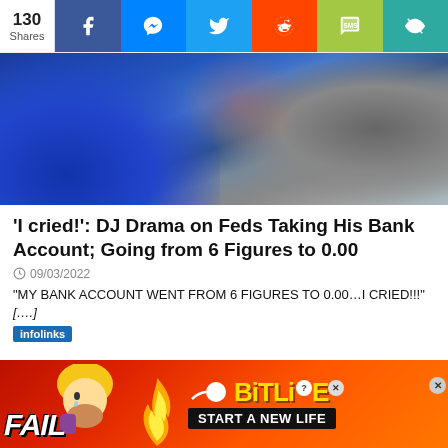130 Shares — social share bar with Facebook, Messenger, Twitter, Reddit, SMS, Eye icons
[Figure (photo): Two people seated; one wearing a blue varsity jacket, the other in a grey t-shirt]
'I cried!': DJ Drama on Feds Taking His Bank Account; Going from 6 Figures to 0.00
09/03/2022
"MY BANK ACCOUNT WENT FROM 6 FIGURES TO 0.00...I CRIED!!!" [....]
[Figure (infographic): Advertisement banner: FAIL text with cartoon face, flame, BitLife logo and 'START A NEW LIFE' text]